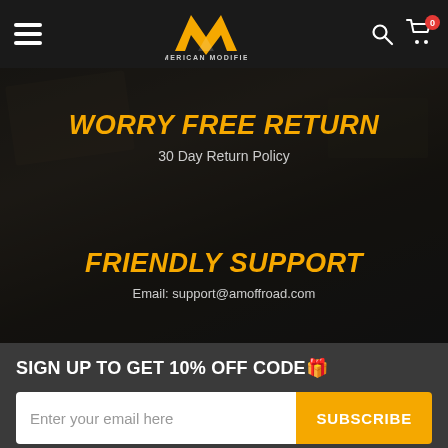American Modified — Navigation header with logo, search, and cart (0 items)
[Figure (logo): American Modified AM logo — yellow M-shaped chevron icon above text AMERICAN MODIFIED]
[Figure (photo): Dark overlay banner showing auto parts/tools background with two promotional sections]
WORRY FREE RETURN
30 Day Return Policy
FRIENDLY SUPPORT
Email: support@amoffroad.com
SIGN UP TO GET 10% OFF CODE🎁
Enter your email here  SUBSCRIBE